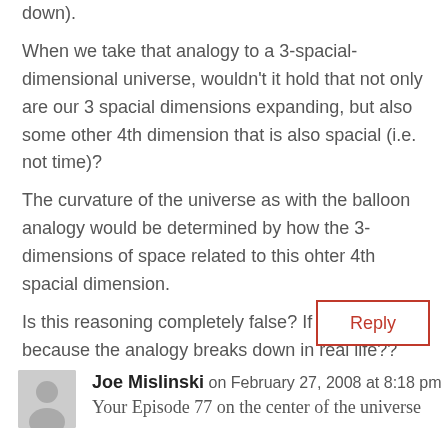down). When we take that analogy to a 3-spacial-dimensional universe, wouldn't it hold that not only are our 3 spacial dimensions expanding, but also some other 4th dimension that is also spacial (i.e. not time)? The curvature of the universe as with the balloon analogy would be determined by how the 3-dimensions of space related to this ohter 4th spacial dimension. Is this reasoning completely false? If so, is it just because the analogy breaks down in real life??
Reply
Joe Mislinski on February 27, 2008 at 8:18 pm
Your Episode 77 on the center of the universe